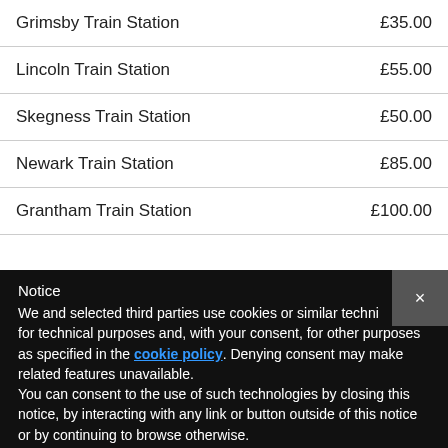|  |  |
| --- | --- |
| Grimsby Train Station | £35.00 |
| Lincoln Train Station | £55.00 |
| Skegness Train Station | £50.00 |
| Newark Train Station | £85.00 |
| Grantham Train Station | £100.00 |
Notice
We and selected third parties use cookies or similar technologies for technical purposes and, with your consent, for other purposes as specified in the cookie policy. Denying consent may make related features unavailable.
You can consent to the use of such technologies by closing this notice, by interacting with any link or button outside of this notice or by continuing to browse otherwise.